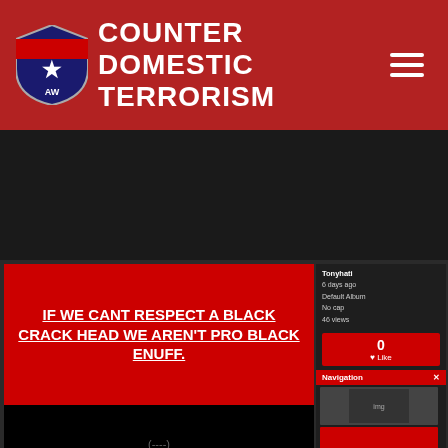[Figure (screenshot): Website header for Counter Domestic Terrorism with shield logo and hamburger menu on red background]
[Figure (screenshot): Screenshot of social media meme post with red, black, and green panels. Red panel: IF WE CANT RESPECT A BLACK CRACK HEAD WE AREN'T PRO BLACK ENUFF. Black panel: video placeholder. Green panel: LOVING ALL BLACK PEOPLE UNCONDITIONALLY IS REVOLUTIONARY. Sidebar shows user info, navigation, share widgets. Page number 15 visible, browser tab bar, navigation tabs, and Share button at bottom.]